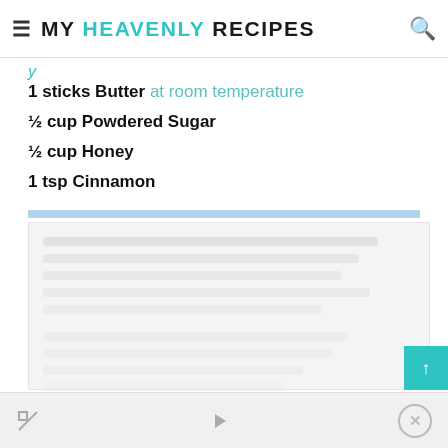MY HEAVENLY RECIPES
1 sticks Butter at room temperature
½ cup Powdered Sugar
½ cup Honey
1 tsp Cinnamon
[Figure (other): Blurred/faded recipe content below divider bar, not readable]
Advertisement bar with media icons